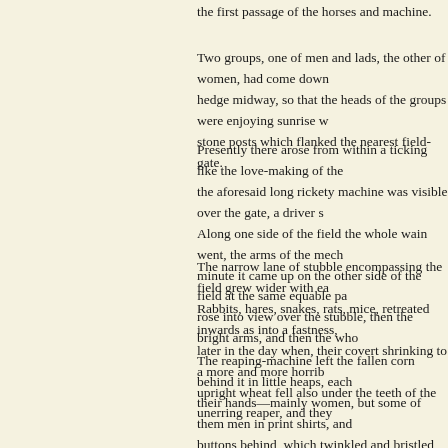the first passage of the horses and machine.
Two groups, one of men and lads, the other of women, had come down hedge midway, so that the heads of the groups were enjoying sunrise w stone posts which flanked the nearest field-gate.
Presently there arose from within a ticking like the love-making of the the aforesaid long rickety machine was visible over the gate, a driver s Along one side of the field the whole wain went, the arms of the mech minute it came up on the other side of the field at the same equable pa rose into view over the stubble, then the bright arms, and then the who
The narrow lane of stubble encompassing the field grew wider with ea Rabbits, hares, snakes, rats, mice, retreated inwards as into a fastness, later in the day when, their covert shrinking to a more and more horrib upright wheat fell also under the teeth of the unerring reaper, and they
The reaping-machine left the fallen corn behind it in little heaps, each their hands—mainly women, but some of them men in print shirts, and buttons behind, which twinkled and bristled with sunbeams at every m
But those of the other sex were the most interesting of this company o and parcel of outdoor nature, and is not merely an object set down ther of the field; she had somehow lost her own margin, imbibed the essenc
The women—or rather girls, for they were mostly young—wore draw